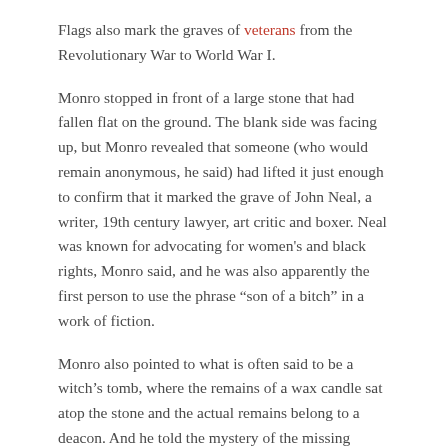Flags also mark the graves of veterans from the Revolutionary War to World War I.
Monro stopped in front of a large stone that had fallen flat on the ground. The blank side was facing up, but Monro revealed that someone (who would remain anonymous, he said) had lifted it just enough to confirm that it marked the grave of John Neal, a writer, 19th century lawyer, art critic and boxer. Neal was known for advocating for women's and black rights, Monro said, and he was also apparently the first person to use the phrase “son of a bitch” in a work of fiction.
Monro also pointed to what is often said to be a witch’s tomb, where the remains of a wax candle sat atop the stone and the actual remains belong to a deacon. And he told the mystery of the missing Longfellows. The hillside grave that is believed to be the final resting place of the relatives of famous poet Henry Wadsworth Longfellow is actually empty, and no one knows what happened to the bodies.